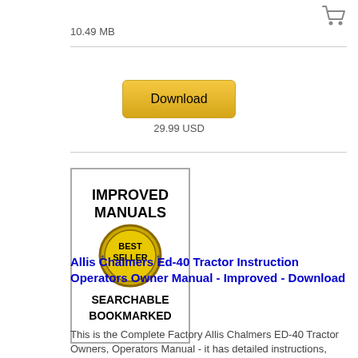[Figure (logo): Shopping cart icon in top right corner]
10.49 MB
[Figure (logo): Improved Manuals Best Seller badge with text: IMPROVED MANUALS, BEST SELLER, SEARCHABLE BOOKMARKED]
Allis Chalmers Ed-40 Tractor Instruction Operators Owner Manual - Improved - Download
This is the Complete Factory Allis Chalmers ED-40 Tractor Owners, Operators Manual - it has detailed instructions, diagrams and